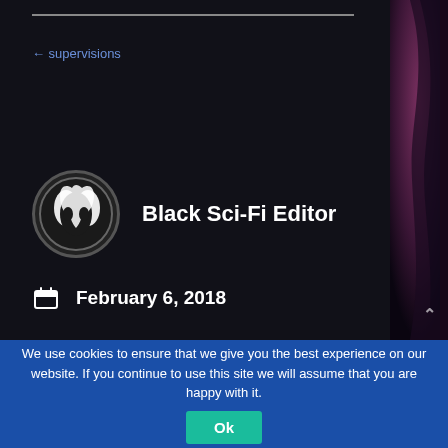← supervisions
[Figure (logo): Black Sci-Fi Editor circular logo/avatar with white abstract face silhouette design]
Black Sci-Fi Editor
February 6, 2018
[Figure (illustration): Dark purple/red illustrated side panel with figure silhouette]
We use cookies to ensure that we give you the best experience on our website. If you continue to use this site we will assume that you are happy with it.